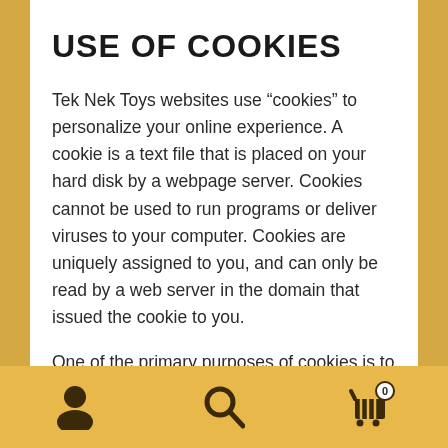USE OF COOKIES
Tek Nek Toys websites use “cookies” to personalize your online experience. A cookie is a text file that is placed on your hard disk by a webpage server. Cookies cannot be used to run programs or deliver viruses to your computer. Cookies are uniquely assigned to you, and can only be read by a web server in the domain that issued the cookie to you.
One of the primary purposes of cookies is to provide a convenience feature to save you time. The purpose of a cookie is to tell the web server that you have returned to a specific page. For example, if you
[Figure (other): Bottom navigation bar with person icon, search icon, and shopping cart icon with badge showing 0]